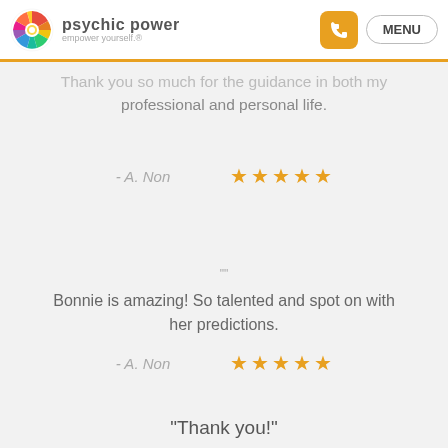[Figure (logo): Psychic Power logo with colorful circular icon and text 'psychic power empower yourself']
Thank you so much for the guidance in both my professional and personal life.
- A. Non  ★★★★★
Bonnie is amazing! So talented and spot on with her predictions.
- A. Non  ★★★★★
"Thank you!"
Im always overjoyed to see Bonnie is on line and